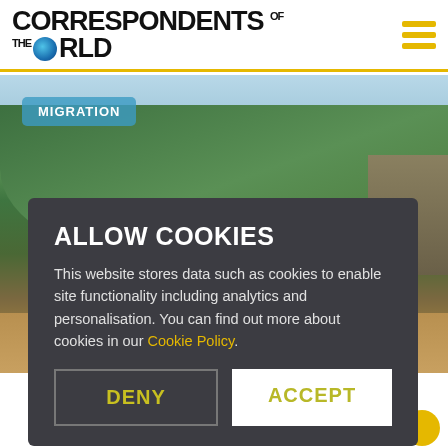CORRESPONDENTS OF THE WORLD
[Figure (photo): Mountain landscape with green forested hillside and sky, with a MIGRATION badge overlay in the top-left corner.]
ALLOW COOKIES
This website stores data such as cookies to enable site functionality including analytics and personalisation. You can find out more about cookies in our Cookie Policy.
DENY   ACCEPT
3 min